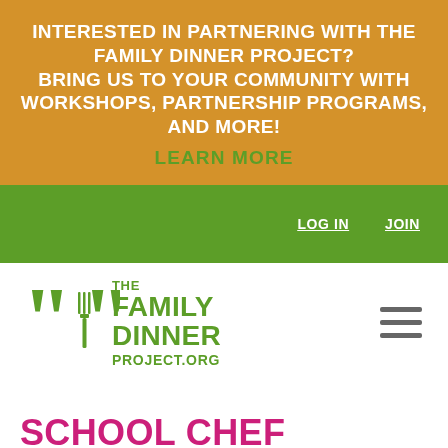INTERESTED IN PARTNERING WITH THE FAMILY DINNER PROJECT? BRING US TO YOUR COMMUNITY WITH WORKSHOPS, PARTNERSHIP PROGRAMS, AND MORE!
LEARN MORE
LOG IN    JOIN
[Figure (logo): The Family Dinner Project logo with green quotation marks and fork, green text reading THE FAMILY DINNER PROJECT.ORG]
SCHOOL CHEF OFFERS GOOD